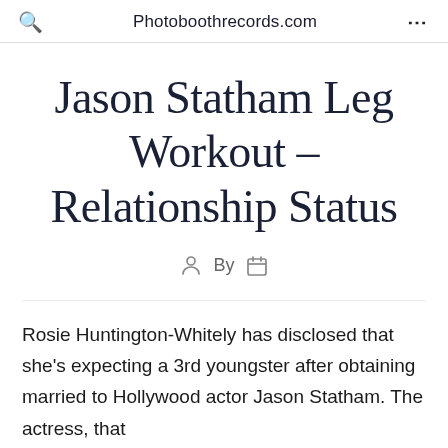Photoboothrecords.com
Jason Statham Leg Workout – Relationship Status
By
Rosie Huntington-Whitely has disclosed that she's expecting a 3rd youngster after obtaining married to Hollywood actor Jason Statham. The actress, that